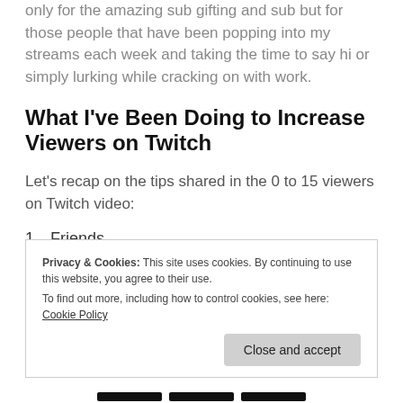only for the amazing sub gifting and sub but for those people that have been popping into my streams each week and taking the time to say hi or simply lurking while cracking on with work.
What I've Been Doing to Increase Viewers on Twitch
Let's recap on the tips shared in the 0 to 15 viewers on Twitch video:
1. Friends
2. [partially obscured]
3. [partially obscured]
Privacy & Cookies: This site uses cookies. By continuing to use this website, you agree to their use. To find out more, including how to control cookies, see here: Cookie Policy
Close and accept